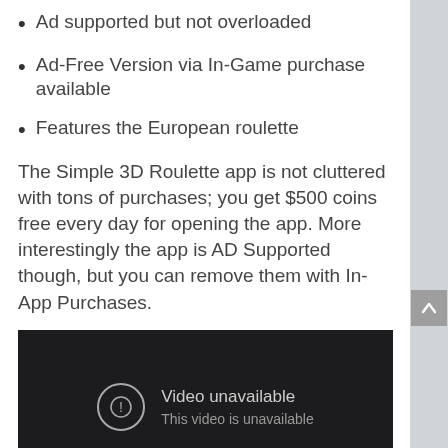Ad supported but not overloaded
Ad-Free Version via In-Game purchase available
Features the European roulette
The Simple 3D Roulette app is not cluttered with tons of purchases; you get $500 coins free every day for opening the app. More interestingly the app is AD Supported though, but you can remove them with In-App Purchases.
[Figure (screenshot): Embedded video player showing 'Video unavailable' error message with subtitle 'This video is unavailable' on a dark background]